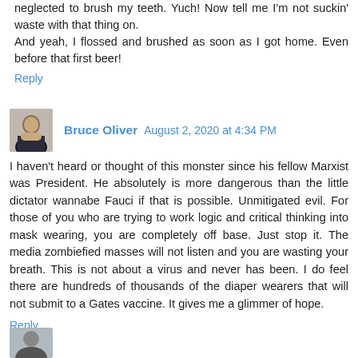neglected to brush my teeth. Yuch! Now tell me I'm not suckin' waste with that thing on.
And yeah, I flossed and brushed as soon as I got home. Even before that first beer!
Reply
Bruce Oliver  August 2, 2020 at 4:34 PM
I haven't heard or thought of this monster since his fellow Marxist was President. He absolutely is more dangerous than the little dictator wannabe Fauci if that is possible. Unmitigated evil. For those of you who are trying to work logic and critical thinking into mask wearing, you are completely off base. Just stop it. The media zombiefied masses will not listen and you are wasting your breath. This is not about a virus and never has been. I do feel there are hundreds of thousands of the diaper wearers that will not submit to a Gates vaccine. It gives me a glimmer of hope.
Reply